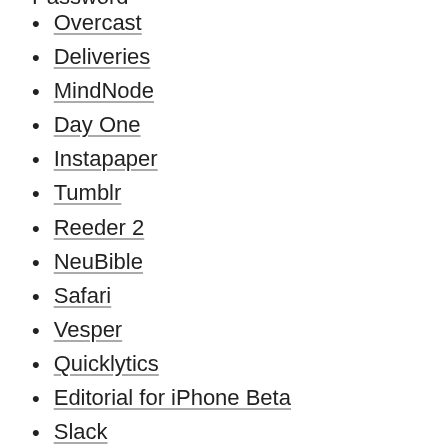Overcast
Deliveries
MindNode
Day One
Instapaper
Tumblr
Reeder 2
NeuBible
Safari
Vesper
Quicklytics
Editorial for iPhone Beta
Slack
Fantastical 2 for iPhone
Next for iPhone